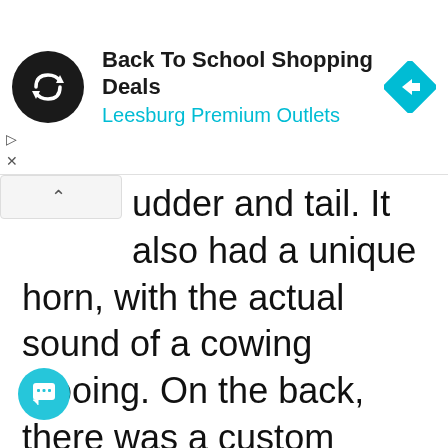[Figure (screenshot): Advertisement banner for 'Back To School Shopping Deals' at Leesburg Premium Outlets with a circular black logo with double arrows and a cyan diamond navigation icon on the right]
udder and tail. It also had a unique horn, with the actual sound of a cowing mooing. On the back, there was a custom made bucket seat. This was just too cute. (See video at end of story.)
We were ready to line up the tractors some pictures, when a black F150 Ford pulled into the Kum & Go parking